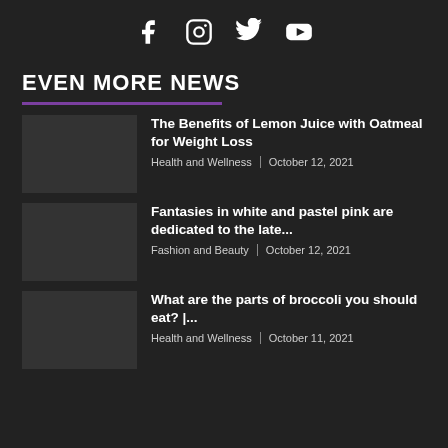Social media icons: Facebook, Instagram, Twitter, YouTube
EVEN MORE NEWS
The Benefits of Lemon Juice with Oatmeal for Weight Loss | Health and Wellness | October 12, 2021
Fantasies in white and pastel pink are dedicated to the late... | Fashion and Beauty | October 12, 2021
What are the parts of broccoli you should eat? |... | Health and Wellness | October 11, 2021